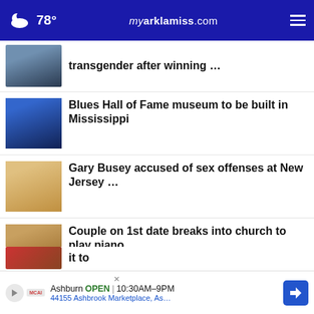78° myarklamiss.com
transgender after winning …
Blues Hall of Fame museum to be built in Mississippi
Gary Busey accused of sex offenses at New Jersey …
Couple on 1st date breaks into church to play piano
GOP's Senate outlook grows dimmer amid 'candidate …
Flying soon? Here's where air e has become more
it to
Ashburn OPEN 10:30AM–9PM 44155 Ashbrook Marketplace, As…